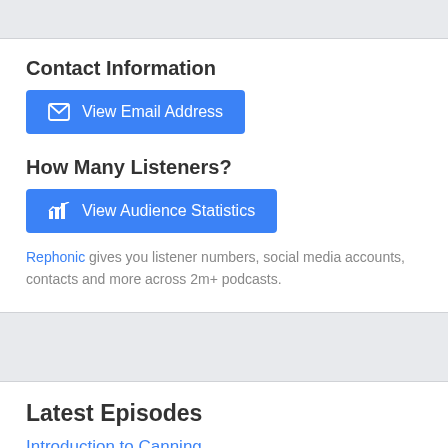Contact Information
View Email Address
How Many Listeners?
View Audience Statistics
Rephonic gives you listener numbers, social media accounts, contacts and more across 2m+ podcasts.
Latest Episodes
Introduction to Canning